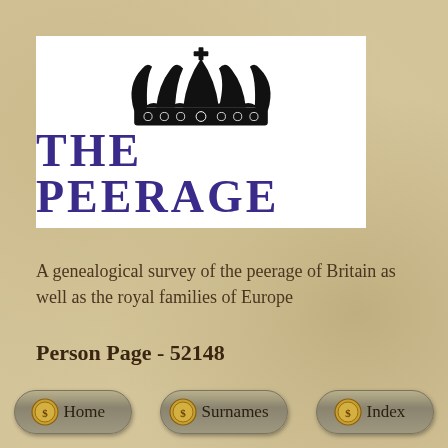[Figure (logo): The Peerage logo with a black heraldic crown above the text 'THE PEERAGE' in large purple bold serif letters on a white background]
A genealogical survey of the peerage of Britain as well as the royal families of Europe
Person Page - 52148
[Figure (other): Navigation buttons: Home, Surnames, Index — each with a golden coin icon on a rounded grey-brown button]